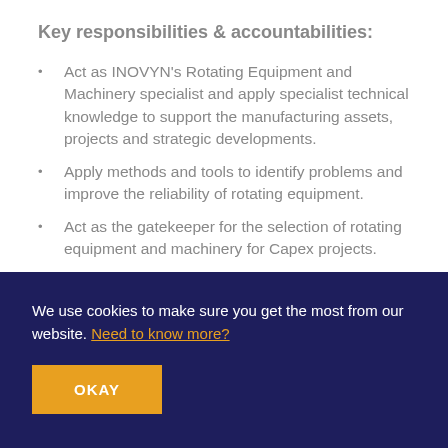Key responsibilities & accountabilities:
Act as INOVYN's Rotating Equipment and Machinery specialist and apply specialist technical knowledge to support the manufacturing assets, projects and strategic developments.
Apply methods and tools to identify problems and improve the reliability of rotating equipment.
Act as the gatekeeper for the selection of rotating equipment and machinery for Capex projects.
Provide central leadership for the control and management of rotating equipment vendors
We use cookies to make sure you get the most from our website. Need to know more?
OKAY